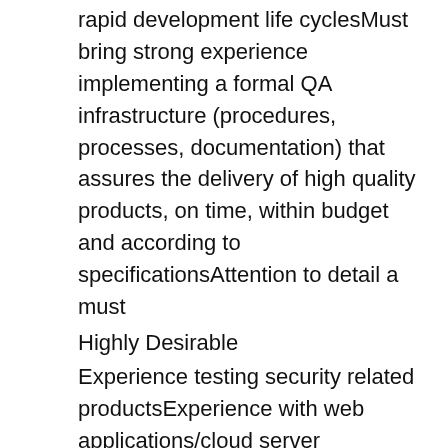rapid development life cyclesMust bring strong experience implementing a formal QA infrastructure (procedures, processes, documentation) that assures the delivery of high quality products, on time, within budget and according to specificationsAttention to detail a must
Highly Desirable
Experience testing security related productsExperience with web applications/cloud server testingWhite box testingNetwork/Citrix administration experienceCitrix CCA, CCEE and/or CCIA certifications
Education and/or Experience
BS or BE or equivalent combination of education and experience.
Language Skills